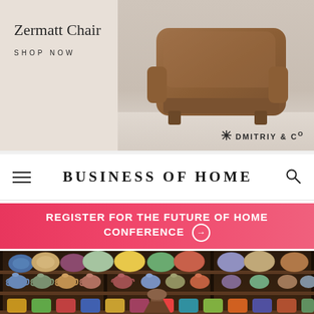[Figure (photo): Advertisement banner for Dmitriy & Co showing a brown upholstered Zermatt Chair against a beige/cream background]
Zermatt Chair
SHOP NOW
DMITRIY & Co
BUSINESS OF HOME
REGISTER FOR THE FUTURE OF HOME CONFERENCE →
[Figure (photo): Interior of a shop with dark wooden shelving units filled with colorful ceramic pottery, teapots, bowls, plates, and decorative stools in the foreground]